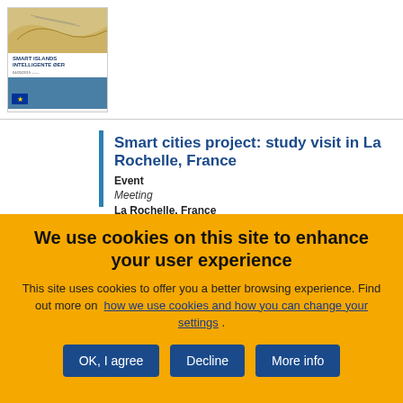[Figure (illustration): Book cover thumbnail for 'Smart Islands Intelligente Øer' publication with teal and beige design and EU logo]
Smart cities project: study visit in La Rochelle, France
Event
Meeting
La Rochelle, France
We use cookies on this site to enhance your user experience
This site uses cookies to offer you a better browsing experience. Find out more on how we use cookies and how you can change your settings .